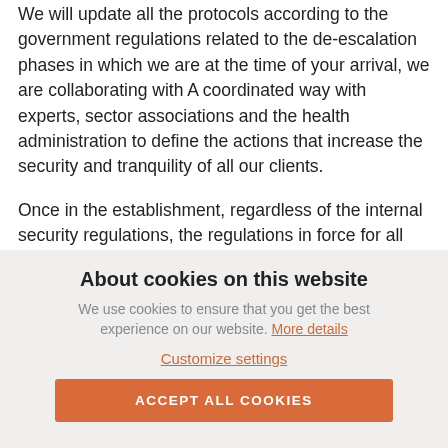We will update all the protocols according to the government regulations related to the de-escalation phases in which we are at the time of your arrival, we are collaborating with A coordinated way with experts, sector associations and the health administration to define the actions that increase the security and tranquility of all our clients.
Once in the establishment, regardless of the internal security regulations, the regulations in force for all citizens set by the central government that regulate the conditions during the health crisis situation caused by COVID-19 must
About cookies on this website
We use cookies to ensure that you get the best experience on our website. More details
Customize settings
ACCEPT ALL COOKIES